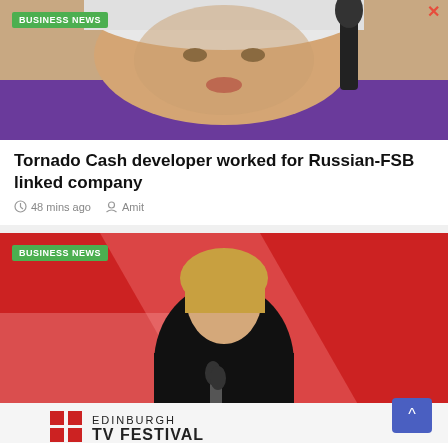[Figure (photo): Close-up photo of an elderly woman with white hair in purple clothing with a microphone in background, labeled BUSINESS NEWS]
Tornado Cash developer worked for Russian-FSB linked company
48 mins ago  Amit
[Figure (photo): Woman in black dress speaking at a podium at Edinburgh TV Festival, labeled BUSINESS NEWS]
BBC defends impartiality after Maitlis accuses